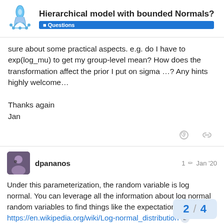Hierarchical model with bounded Normals? — Questions
sure about some practical aspects. e.g. do I have to exp(log_mu) to get my group-level mean? How does the transformation affect the prior I put on sigma …? Any hints highly welcome…

Thanks again
Jan
dpananos  1  Jan '20
Under this parameterization, the random variable is log normal. You can leverage all the information about log normal random variables to find things like the expectation. See here https://en.wikipedia.org/wiki/Log-normal_distribution

So in this case, the population level mean
2 / 4